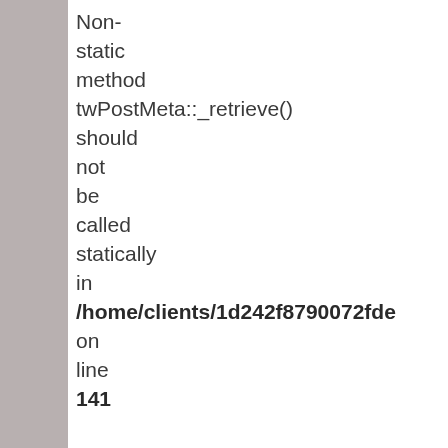Non-static method twPostMeta::_retrieve() should not be called statically in /home/clients/1d242f8790072fd... on line 141

Strict Standards: Non-static method twPostMeta::_getCache() should not be